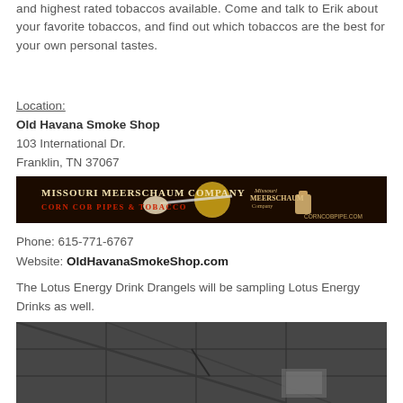and highest rated tobaccos available. Come and talk to Erik about your favorite tobaccos, and find out which tobaccos are the best for your own personal tastes.
Location:
Old Havana Smoke Shop
103 International Dr.
Franklin, TN 37067
[Figure (illustration): Missouri Meerschaum Company advertisement banner — dark background with corn cob pipe imagery, text: MISSOURI MEERSCHAUM COMPANY CORN COB PIPES & TOBACCO CORNCOBPIPE.COM]
Phone: 615-771-6767
Website: OldHavanaSmokeShop.com
The Lotus Energy Drink Drangels will be sampling Lotus Energy Drinks as well.
[Figure (photo): Interior photo of a room/venue ceiling with ceiling tiles and ventilation, dark tones]